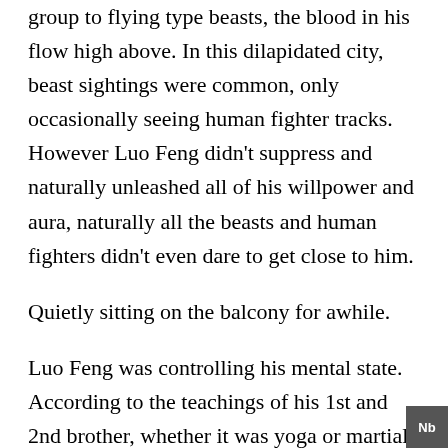group to flying type beasts, the blood in his flow high above. In this dilapidated city, beast sightings were common, only occasionally seeing human fighter tracks. However Luo Feng didn't suppress and naturally unleashed all of his willpower and aura, naturally all the beasts and human fighters didn't even dare to get close to him.
Quietly sitting on the balcony for awhile.
Luo Feng was controlling his mental state. According to the teachings of his 1st and 2nd brother, whether it was yoga or martial arts, they both heavily emphasized one's mental state! Training of the mind was very important! However, in the universe there wasn't anyone who talked about training the mind, one's mental state may seem very trivial...without much effect on one's battle ability at all.